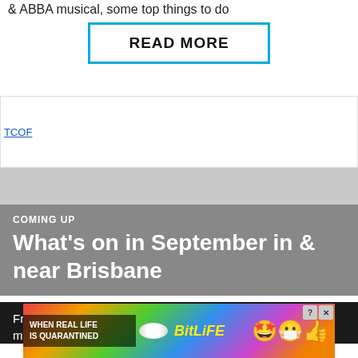& ABBA musical, some top things to do
READ MORE
[Figure (logo): TCOF logo image placeholder]
[Figure (other): Grey advertisement space placeholder]
COMING UP
What's on in September in & near Brisbane
From Toowoomba Carnival of Flowers, a mega mirror maze, monster jumping castle and wizard-
[Figure (infographic): BitLife advertisement banner: WHEN REAL LIFE IS QUARANTINED with rainbow background and emoji characters]